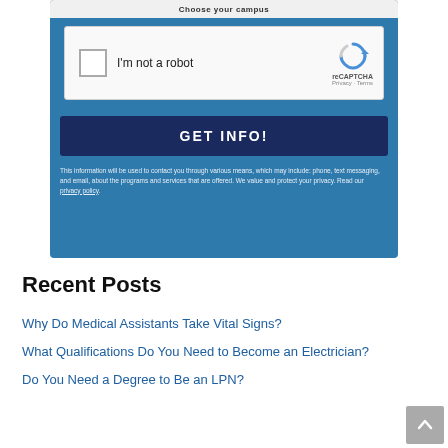[Figure (screenshot): reCAPTCHA widget with checkbox labeled 'I'm not a robot' and reCAPTCHA logo with Privacy and Terms links]
GET INFO!
This information will be used to contact you through various means, which may include: phone, text messaging, and email, about the programs and services that are offered. We value and protect your privacy. Read our privacy policy.
Recent Posts
Why Do Medical Assistants Take Vital Signs?
What Qualifications Do You Need to Become an Electrician?
Do You Need a Degree to Be an LPN?